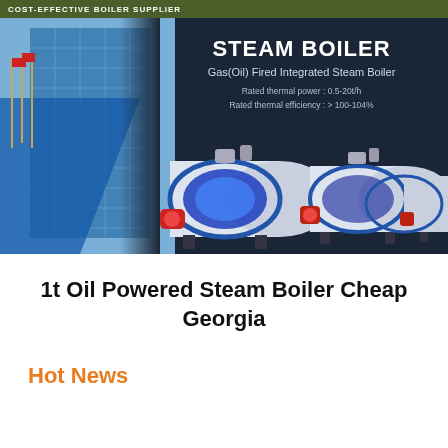COST-EFFECTIVE BOILER SUPPLIER
[Figure (photo): Dark navy banner showing industrial steam boilers (Gas/Oil Fired Integrated Steam Boilers) with a building/glass facade on the left side. Text overlay reads STEAM BOILER, Gas(Oil) Fired Integrated Steam Boiler, Rated thermal power: 0.5-20t/h, Rated thermal efficiency: >100-104%.]
1t Oil Powered Steam Boiler Cheap Georgia
Hot News